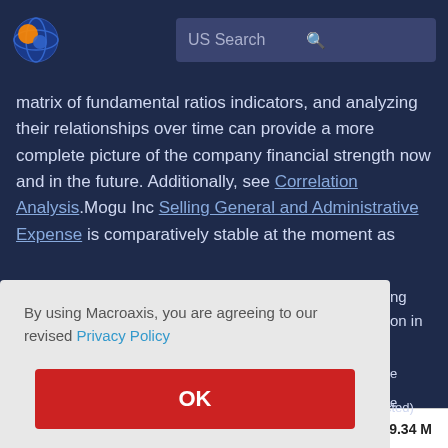[Figure (logo): Macroaxis logo — globe icon with orange and blue coloring]
US Search
matrix of fundamental ratios indicators, and analyzing their relationships over time can provide a more complete picture of the company financial strength now and in the future. Additionally, see Correlation Analysis.Mogu Inc Selling General and Administrative Expense is comparatively stable at the moment as
By using Macroaxis, you are agreeing to our revised Privacy Policy
OK
Revenues USD	79.34 M